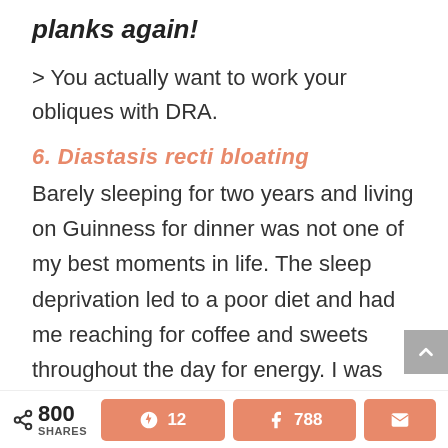planks again!
> You actually want to work your obliques with DRA.
6. Diastasis recti bloating
Barely sleeping for two years and living on Guinness for dinner was not one of my best moments in life. The sleep deprivation led to a poor diet and had me reaching for coffee and sweets throughout the day for energy. I was practicing the right exercises, but my stomach
< 800 SHARES  Pinterest 12  Facebook 788  Email